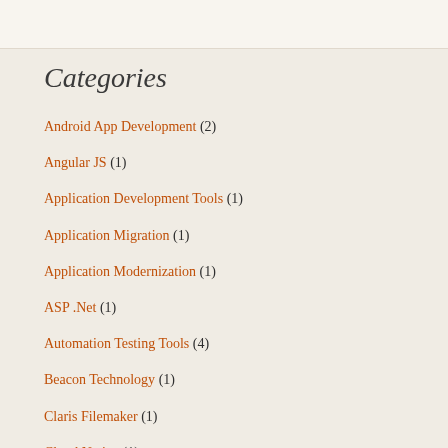Categories
Android App Development (2)
Angular JS (1)
Application Development Tools (1)
Application Migration (1)
Application Modernization (1)
ASP .Net (1)
Automation Testing Tools (4)
Beacon Technology (1)
Claris Filemaker (1)
Cloud Native (1)
ColdFusion (1)
Custom Application Development (4)